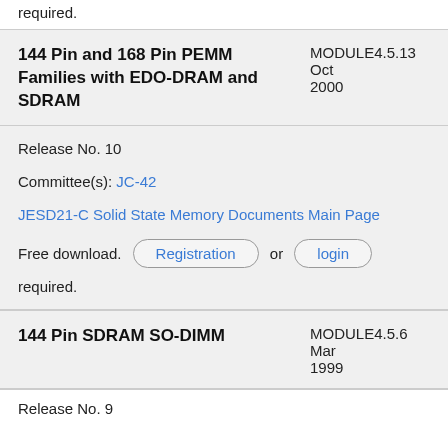required.
| Title | Module | Date |
| --- | --- | --- |
| 144 Pin and 168 Pin PEMM Families with EDO-DRAM and SDRAM | MODULE4.5.13 | Oct 2000 |
Release No. 10
Committee(s): JC-42
JESD21-C Solid State Memory Documents Main Page
Free download. Registration or login required.
| Title | Module | Date |
| --- | --- | --- |
| 144 Pin SDRAM SO-DIMM | MODULE4.5.6 | Mar 1999 |
Release No. 9